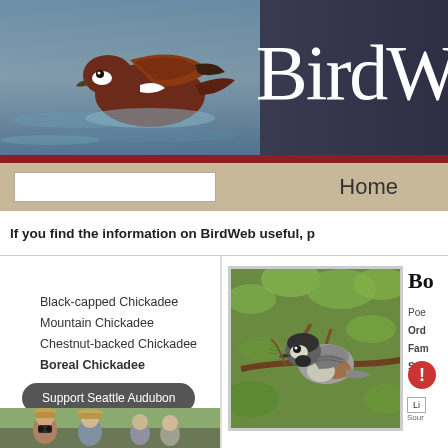[Figure (photo): BirdWeb website screenshot showing a duck bird taking flight over water in header banner, with site title 'BirdW' visible]
BirdW
Home
If you find the information on BirdWeb useful, p
Family Members
Black-capped Chickadee
Mountain Chickadee
Chestnut-backed Chickadee
Boreal Chickadee
[Figure (photo): Boreal Chickadee bird perched on a branch with green foliage background]
Bo
Poe
Ord
Fam
Sta
[Figure (photo): People birdwatching with binoculars and hats outdoors]